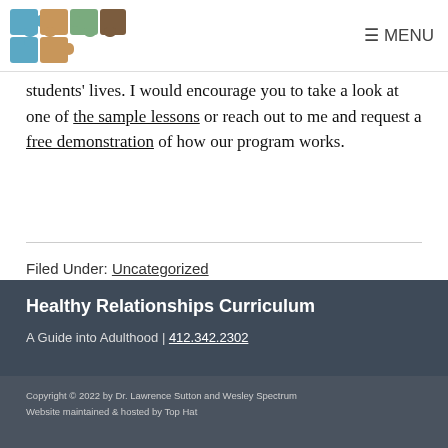≡ MENU
[Figure (logo): Puzzle pieces logo in blue, tan, green, and brown colors]
students' lives. I would encourage you to take a look at one of the sample lessons or reach out to me and request a free demonstration of how our program works.
Filed Under: Uncategorized
Healthy Relationships Curriculum
A Guide into Adulthood | 412.342.2302
Copyright © 2022 by Dr. Lawrence Sutton and Wesley Spectrum
Website maintained & hosted by Top Hat